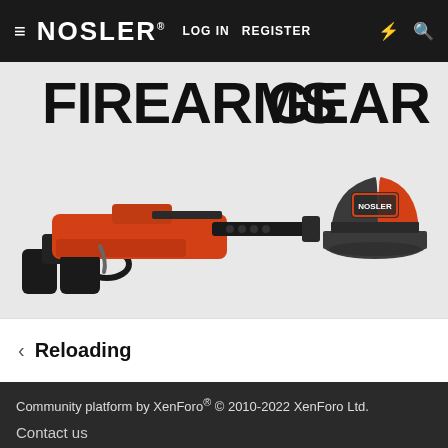≡ NOSLER® LOG IN  REGISTER ⚡ 🔍
[Figure (screenshot): Promotional banner showing FIREARMS text on left with orange/red bolt-action pistol image, and GEAR text on right with a gray/orange trucker hat]
< Reloading
Community platform by XenForo® © 2010-2022 XenForo Ltd.
Contact us
Terms and rules